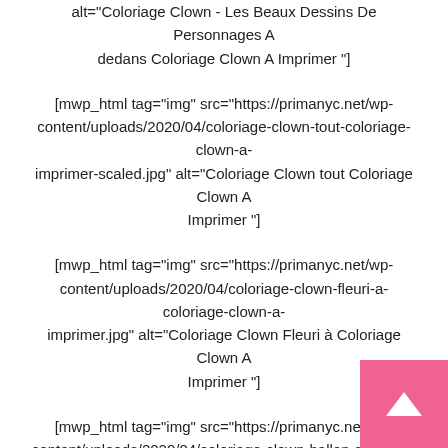alt="Coloriage Clown - Les Beaux Dessins De Personnages A dedans Coloriage Clown A Imprimer "]
[mwp_html tag="img" src="https://primanyc.net/wp-content/uploads/2020/04/coloriage-clown-tout-coloriage-clown-a-imprimer-scaled.jpg" alt="Coloriage Clown tout Coloriage Clown A Imprimer "]
[mwp_html tag="img" src="https://primanyc.net/wp-content/uploads/2020/04/coloriage-clown-fleuri-a-coloriage-clown-a-imprimer.jpg" alt="Coloriage Clown Fleuri à Coloriage Clown A Imprimer "]
[mwp_html tag="img" src="https://primanyc.net/wp-content/uploads/2020/04/coloriage-clown-ballon-dessin-a-imprimer-sur-coloriages-pour-coloriage-clown-a-imprimer-scaled.jpg" alt="Coloriage Clown Ballon Dessin À Imprimer Sur Coloriages pour Coloriage Clown A Imprimer "]
[mwp_html tag="img" src="https://primanyc.net/wp-content/uploads/2020/04/coloriage-cirque-28-dessins-a-imprimer-gratuitement-concernant-coloriage-clown-a-imprimer.jpg" alt="Coloriage Cirque 28 Dessins À Imprimer Gratuitement...